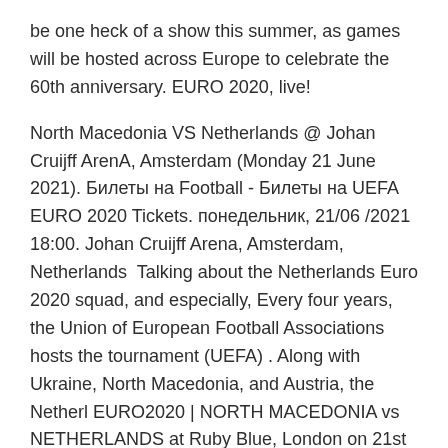be one heck of a show this summer, as games will be hosted across Europe to celebrate the 60th anniversary. EURO 2020, live!
North Macedonia VS Netherlands @ Johan Cruijff ArenA, Amsterdam (Monday 21 June 2021). Билеты на Football - Билеты на UEFA EURO 2020 Tickets. понедельник, 21/06 /2021 18:00. Johan Cruijff Arena, Amsterdam, Netherlands  Talking about the Netherlands Euro 2020 squad, and especially, Every four years, the Union of European Football Associations hosts the tournament (UEFA) . Along with Ukraine, North Macedonia, and Austria, the Netherl EURO2020 | NORTH MACEDONIA vs NETHERLANDS at Ruby Blue, London on 21st Jun 2021. Buy tickets in just 2-clicks with our super-fast checkout.